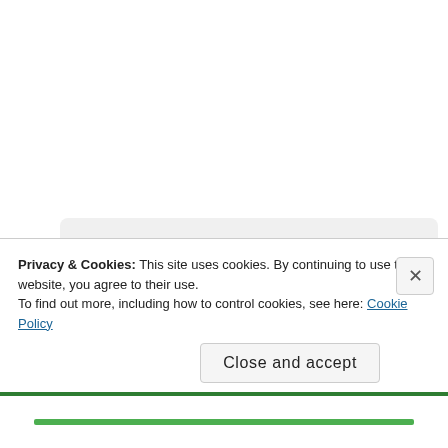[Figure (photo): Circular avatar photo of a person working with a sewing machine or similar craft tool, reddish/brown tones]
tansyrr
I'm really excited by this blog! Looking forward to reading on. We need more non US voices speaking
Privacy & Cookies: This site uses cookies. By continuing to use this website, you agree to their use.
To find out more, including how to control cookies, see here: Cookie Policy
Close and accept